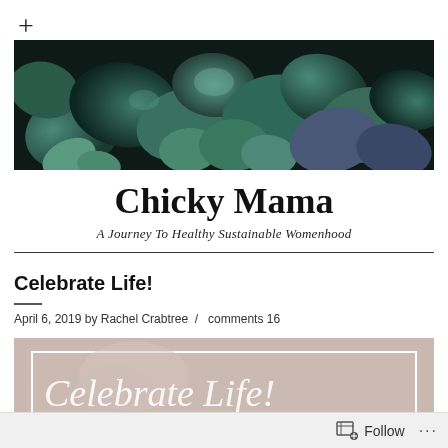+
[Figure (photo): Close-up photo of succulent plants with dark green and teal leaves against a dark background]
Chicky Mama
A Journey To Healthy Sustainable Womenhood
Celebrate Life!
April 6, 2019 by Rachel Crabtree  /  comments 16
[Figure (photo): Decorative image with soft beige/rose background and white cursive script text reading 'Celebrate Life!']
Follow  ...